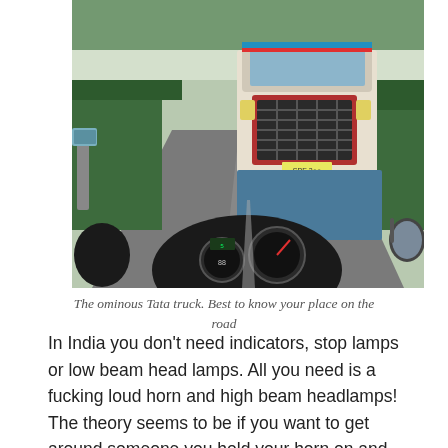[Figure (photo): A motorcycle rider's point-of-view photo showing a large decorated Tata truck approaching head-on on a narrow Indian road lined with trees. The motorcycle's dashboard with speedometer gauges is visible in the foreground, along with a camera mount on the left and a side mirror on the right.]
The ominous Tata truck. Best to know your place on the road
In India you don't need indicators, stop lamps or low beam head lamps. All you need is a fucking loud horn and high beam headlamps! The theory seems to be if you want to get around someone you hold your horn on and pull out into oncoming traffic, if there are vehicles coming towards you keep going but turn your high beams on – that way you blind the person coming towards you at speed, move on and let them jam the anchors on without being able to see and it's all sorted!